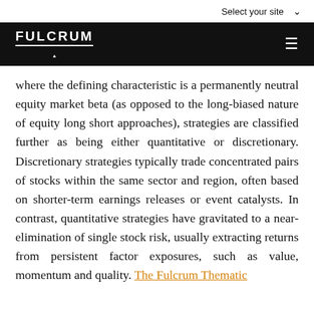Select your site
[Figure (logo): Fulcrum logo on black navigation bar with hamburger menu icon]
where the defining characteristic is a permanently neutral equity market beta (as opposed to the long-biased nature of equity long short approaches), strategies are classified further as being either quantitative or discretionary. Discretionary strategies typically trade concentrated pairs of stocks within the same sector and region, often based on shorter-term earnings releases or event catalysts. In contrast, quantitative strategies have gravitated to a near-elimination of single stock risk, usually extracting returns from persistent factor exposures, such as value, momentum and quality. The Fulcrum Thematic